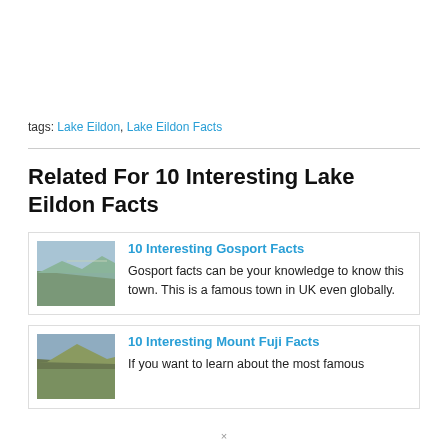tags: Lake Eildon, Lake Eildon Facts
Related For 10 Interesting Lake Eildon Facts
[Figure (photo): Landscape photo showing a dirt path through scrubland]
10 Interesting Gosport Facts
Gosport facts can be your knowledge to know this town. This is a famous town in UK even globally.
[Figure (photo): Photo of a hillside landscape]
10 Interesting Mount Fuji Facts
If you want to learn about the most famous
×